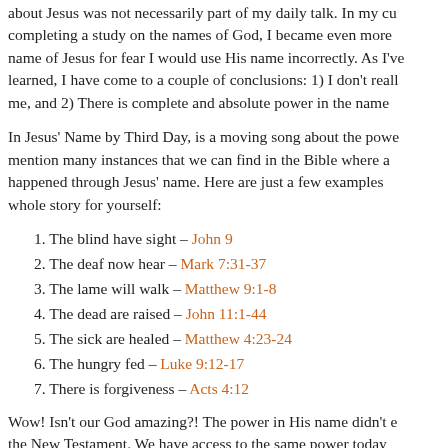about Jesus was not necessarily part of my daily talk. In my completing a study on the names of God, I became even more name of Jesus for fear I would use His name incorrectly. As I've learned, I have come to a couple of conclusions: 1) I don't reall me, and 2) There is complete and absolute power in the name
In Jesus' Name by Third Day, is a moving song about the power mention many instances that we can find in the Bible where a happened through Jesus' name. Here are just a few examples whole story for yourself:
1. The blind have sight – John 9
2. The deaf now hear – Mark 7:31-37
3. The lame will walk – Matthew 9:1-8
4. The dead are raised – John 11:1-44
5. The sick are healed – Matthew 4:23-24
6. The hungry fed – Luke 9:12-17
7. There is forgiveness – Acts 4:12
Wow! Isn't our God amazing?! The power in His name didn't e the New Testament. We have access to the same power today Biblical times. Above all else, in Jesus' name – and only Jesus' the only One who can forgive our sins and make our hearts cle grateful for each and every day that I've been given to proclain be saved!